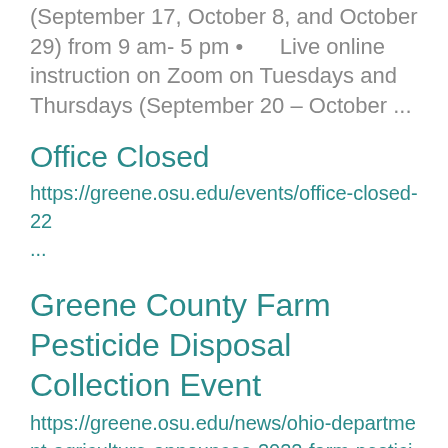(September 17, October 8, and October 29) from 9 am- 5 pm • Live online instruction on Zoom on Tuesdays and Thursdays (September 20 – October ...
Office Closed
https://greene.osu.edu/events/office-closed-22 ...
Greene County Farm Pesticide Disposal Collection Event
https://greene.osu.edu/news/ohio-department-agriculture-announces-2022-farm-pesticide-disposal-collection-events
The Ohio Department of Agriculture will be